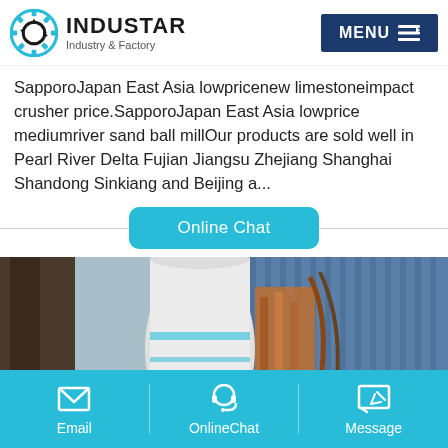INDUSTAR — Industry & Factory
SapporoJapan East Asia lowpricenew limestoneimpact crusher price.SapporoJapan East Asia lowprice mediumriver sand ball millOur products are sold well in Pearl River Delta Fujian Jiangsu Zhejiang Shanghai Shandong Sinkiang and Beijing a...
Online Chat
[Figure (photo): Industrial ball mill or rotary drum equipment, large cylindrical white/grey machinery with orange/brown sections, photographed in an industrial facility with blue corrugated metal walls in background.]
Email | OnlineChat | Message